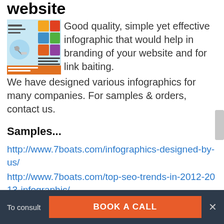website
[Figure (infographic): Thumbnail image of an infographic about website design for beginners, partially visible on left side]
Good quality, simple yet effective infographic that would help in branding of your website and for link baiting. We have designed various infographics for many companies. For samples & orders, contact us.
Samples...
http://www.7boats.com/infographics-designed-by-us/
http://www.7boats.com/top-seo-trends-in-2012-2013-infographic/
http://www.7boats.com/google-search-ranking-
To consult   BOOK A CALL   ×